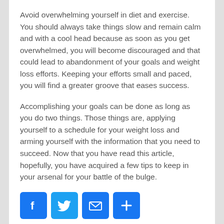Avoid overwhelming yourself in diet and exercise. You should always take things slow and remain calm and with a cool head because as soon as you get overwhelmed, you will become discouraged and that could lead to abandonment of your goals and weight loss efforts. Keeping your efforts small and paced, you will find a greater groove that eases success.
Accomplishing your goals can be done as long as you do two things. Those things are, applying yourself to a schedule for your weight loss and arming yourself with the information that you need to succeed. Now that you have read this article, hopefully, you have acquired a few tips to keep in your arsenal for your battle of the bulge.
[Figure (infographic): Social sharing buttons: Facebook (blue f logo), Twitter (blue bird logo), Email (blue envelope icon), Share (blue plus icon)]